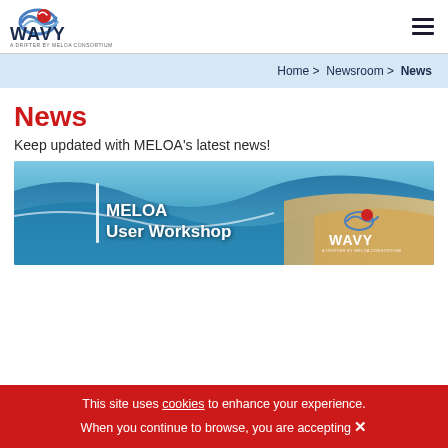WAVY - A Drifter by MELOA Consortium
Home > Newsroom > News
News
Keep updated with MELOA's latest news!
[Figure (photo): Aerial photo of ocean and beach shore with MELOA User Workshop text overlay and WAVY logo]
This site uses cookies to enhance your experience. When you continue to browse, you are accepting ✕